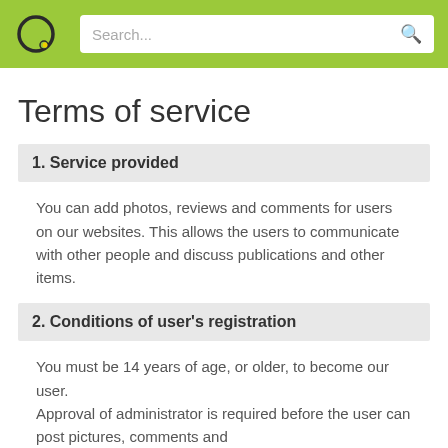Search...
Terms of service
1. Service provided
You can add photos, reviews and comments for users on our websites. This allows the users to communicate with other people and discuss publications and other items.
2. Conditions of user's registration
You must be 14 years of age, or older, to become our user. Approval of administrator is required before the user can post pictures, comments and